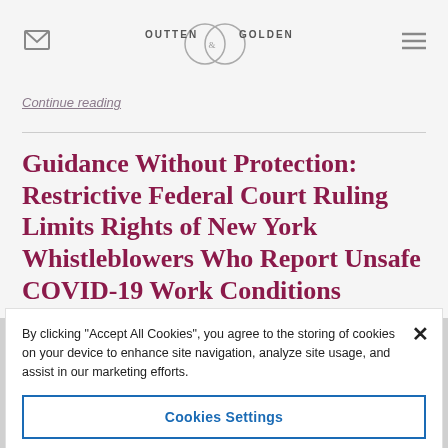OUTTEN & GOLDEN
Continue reading
Guidance Without Protection: Restrictive Federal Court Ruling Limits Rights of New York Whistleblowers Who Report Unsafe COVID-19 Work Conditions
By clicking “Accept All Cookies”, you agree to the storing of cookies on your device to enhance site navigation, analyze site usage, and assist in our marketing efforts.
Cookies Settings
Reject All